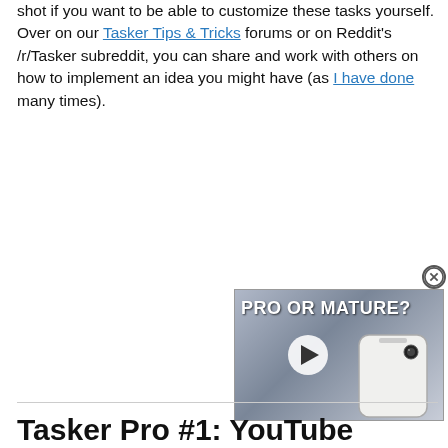shot if you want to be able to customize these tasks yourself. Over on our Tasker Tips & Tricks forums or on Reddit's /r/Tasker subreddit, you can share and work with others on how to implement an idea you might have (as I have done many times).
[Figure (screenshot): Video thumbnail showing a white smartphone with text 'PRO OR MATURE?' and a play button, with a close (X) button in corner.]
Tasker Pro #1: YouTube